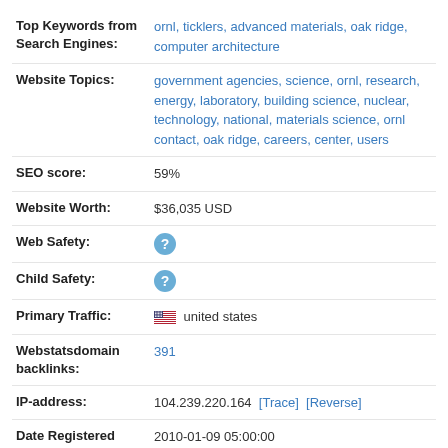| Top Keywords from Search Engines: | ornl, ticklers, advanced materials, oak ridge, computer architecture |
| Website Topics: | government agencies, science, ornl, research, energy, laboratory, building science, nuclear, technology, national, materials science, ornl contact, oak ridge, careers, center, users |
| SEO score: | 59% |
| Website Worth: | $36,035 USD |
| Web Safety: | ? |
| Child Safety: | ? |
| Primary Traffic: | united states |
| Webstatsdomain backlinks: | 391 |
| IP-address: | 104.239.220.164  [Trace]  [Reverse] |
| Date Registered | 2010-01-09 05:00:00 |